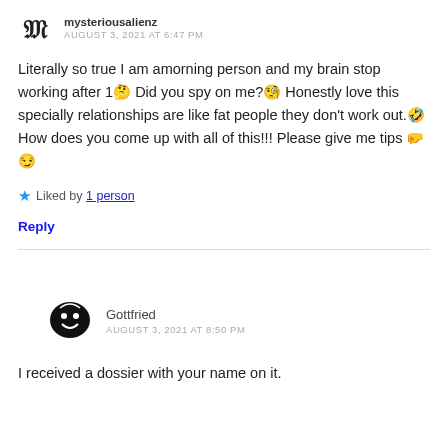mysteriousalienz
AUGUST 3, 2021 AT 6:47 PM
Literally so true I am amorning person and my brain stop working after 1🤔 Did you spy on me?🧐 Honestly love this specially relationships are like fat people they don't work out.🤣 How does you come up with all of this!!! Please give me tips 🤜😏
★ Liked by 1 person
Reply
Gottfried
AUGUST 3, 2021 AT 8:50 PM
I received a dossier with your name on it.